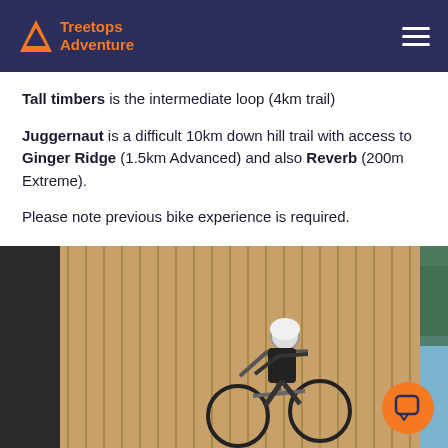Treetops Adventure
Tall timbers is the intermediate loop (4km trail)
Juggernaut is a difficult 10km down hill trail with access to Ginger Ridge (1.5km Advanced) and also Reverb (200m Extreme).
Please note previous bike experience is required.
[Figure (photo): Mountain biker riding up a steep wooden wall feature on a bike trail, wearing black outfit and white helmet, with trees visible in the background]